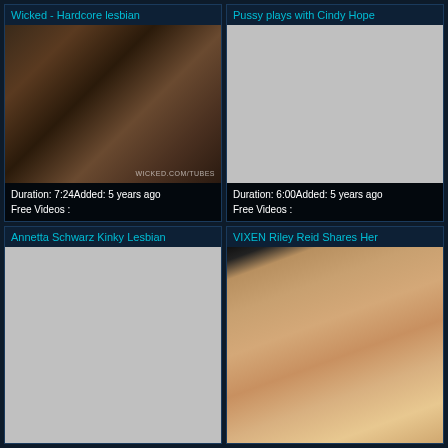Wicked - Hardcore lesbian
[Figure (photo): Video thumbnail showing adult content with watermark WICKED.COM/TUBES]
Duration: 7:24Added: 5 years ago
Free Videos :
Pussy plays with Cindy Hope
[Figure (photo): Gray placeholder thumbnail for video]
Duration: 6:00Added: 5 years ago
Free Videos :
Annetta Schwarz Kinky Lesbian
[Figure (photo): Gray placeholder thumbnail for video]
VIXEN Riley Reid Shares Her
[Figure (photo): Video thumbnail showing blonde woman in white top, close-up face shot]